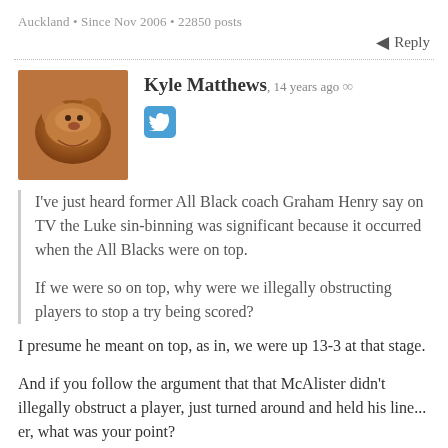Auckland • Since Nov 2006 • 22850 posts
Reply
Kyle Matthews, 14 years ago ∞
[Figure (photo): Avatar photo of a brown dog or cat curled up]
[Figure (logo): Twitter bird icon in blue rounded square]
I've just heard former All Black coach Graham Henry say on TV the Luke sin-binning was significant because it occurred when the All Blacks were on top.

If we were so on top, why were we illegally obstructing players to stop a try being scored?
I presume he meant on top, as in, we were up 13-3 at that stage.
And if you follow the argument that that McAlister didn't illegally obstruct a player, just turned around and held his line... er, what was your point?
Ignoring what Tom said about Dan Carter, because I'd bet good money that all of the All Blacks shed